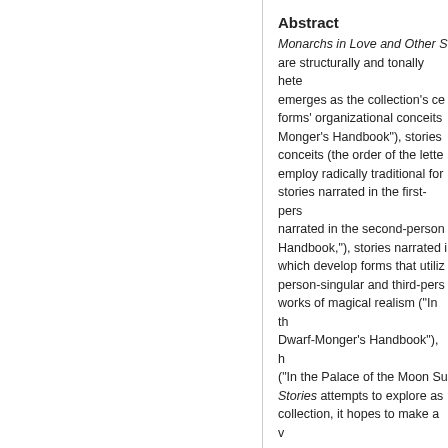Abstract
Monarchs in Love and Other S... are structurally and tonally hete... emerges as the collection's ce... forms' organizational conceits ... Monger's Handbook"), stories ... conceits (the order of the lette... employ radically traditional for... stories narrated in the first-pers... narrated in the second-person ... Handbook,"), stories narrated i... which develop forms that utiliz... person-singular and third-pers... works of magical realism ("In th... Dwarf-Monger's Handbook"), h... ("In the Palace of the Moon Su... Stories attempts to explore as ... collection, it hopes to make a v...
Keywords
Fiction; Short stories
Disciplines
Creative Writing | Literature in ...